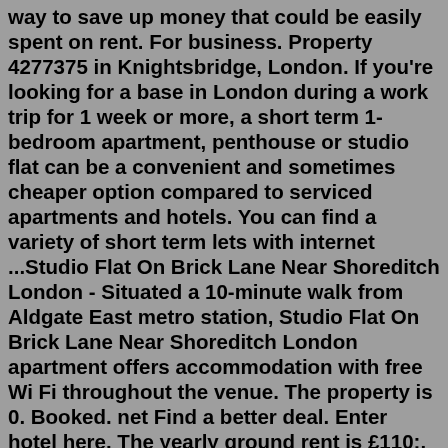way to save up money that could be easily spent on rent. For business. Property 4277375 in Knightsbridge, London. If you're looking for a base in London during a work trip for 1 week or more, a short term 1-bedroom apartment, penthouse or studio flat can be a convenient and sometimes cheaper option compared to serviced apartments and hotels. You can find a variety of short term lets with internet ...Studio Flat On Brick Lane Near Shoreditch London - Situated a 10-minute walk from Aldgate East metro station, Studio Flat On Brick Lane Near Shoreditch London apartment offers accommodation with free Wi Fi throughout the venue. The property is 0. Booked. net Find a better deal. Enter hotel here. The yearly ground rent is £110;. 1 Bedroom flats to rent in Dryfield Road, HA8, Greater London ...The studio flat is private and has queen bed with a large window, leafy outlook, and cupboard space. it has a large and clean bathroom . A kitc... Secured Studio flat in Gulshan 2 Diplomatic zone - Apartments for Rent in Dhaka, Dhaka Division, Bangladesh - Airbnb. Jul 26...